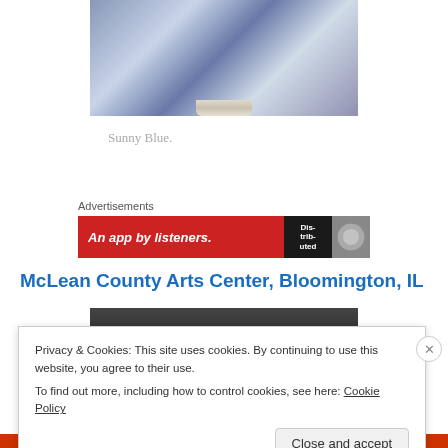[Figure (photo): Close-up photo of a decorative silver-framed item with blue marbled pattern, viewed from below showing silver clasp/bottom]
Sunny Blue.
Advertisements
[Figure (screenshot): Red advertisement banner reading 'An app by listeners.' with dark badge showing 'Dis-trib-uted' text and a circle logo]
McLean County Arts Center, Bloomington, IL
[Figure (photo): Dark/black photograph, partially visible]
Privacy & Cookies: This site uses cookies. By continuing to use this website, you agree to their use.
To find out more, including how to control cookies, see here: Cookie Policy
Close and accept